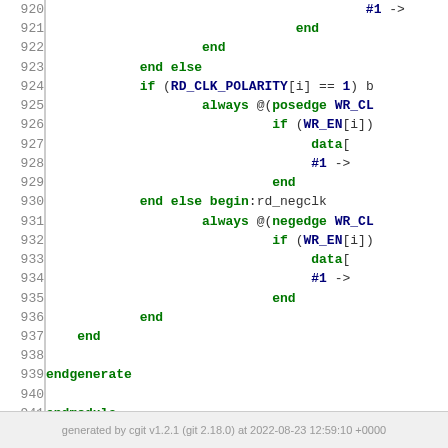[Figure (screenshot): Source code viewer showing Verilog/SystemVerilog code lines 920-944 with line numbers on the left. Code contains green keywords (end, always, endgenerate, endmodule, endif) and blue bold identifiers (RD_CLK_POLARITY, WR_CL, WR_EN, #1). Line 944 shows a comment separator.]
generated by cgit v1.2.1 (git 2.18.0) at 2022-08-23 12:59:10 +0000